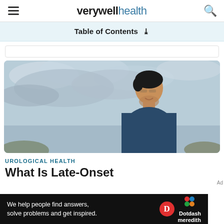verywell health
Table of Contents
[Figure (photo): A smiling young Asian man looking to the side against a cloudy sky background, wearing a dark blue top]
UROLOGICAL HEALTH
What Is Late-Onset
[Figure (infographic): Bottom advertisement banner: 'We help people find answers, solve problems and get inspired.' with Dotdash Meredith logo]